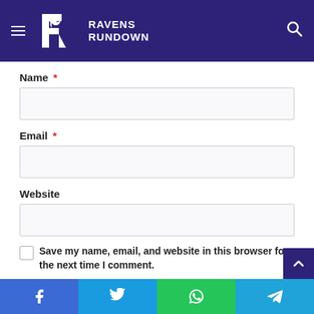[Figure (logo): Ravens Rundown website header with logo (white R with raven silhouette on dark purple background), hamburger menu icon on left, search icon on right]
Name *
Email *
Website
Save my name, email, and website in this browser for the next time I comment.
[Figure (screenshot): Partially visible dark purple submit button at bottom]
[Figure (infographic): Social share bar with four buttons: Facebook (blue), Twitter (light blue), WhatsApp (green), Telegram (teal)]